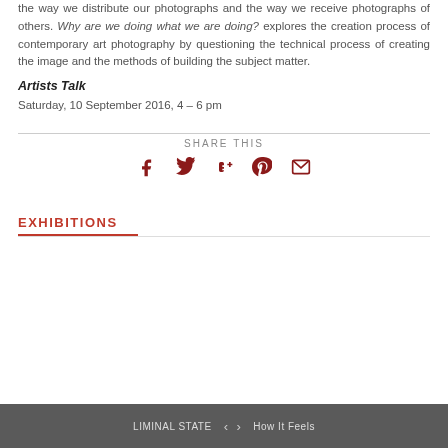the way we distribute our photographs and the way we receive photographs of others. Why are we doing what we are doing? explores the creation process of contemporary art photography by questioning the technical process of creating the image and the methods of building the subject matter.
Artists Talk
Saturday, 10 September 2016, 4 – 6 pm
SHARE THIS
[Figure (infographic): Social sharing icons: Facebook, Twitter, Google+, Pinterest, Email, all in dark red/maroon color]
EXHIBITIONS
LIMINAL STATE   ‹   ›   How It Feels